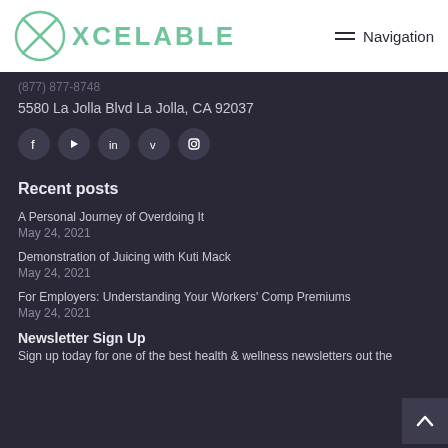XCELABLE — Navigation
(877) 877-8748
5580 La Jolla Blvd La Jolla, CA 92037
[Figure (other): Social media icons: Facebook, YouTube, LinkedIn, Vimeo, Instagram]
Recent posts
A Personal Journey of Overdoing It
May 24, 2021
Demonstration of Juicing with Kuti Mack
May 24, 2021
For Employers: Understanding Your Workers' Comp Premiums
May 24, 2021
Newsletter Sign Up
Sign up today for one of the best health & wellness newsletters out the...